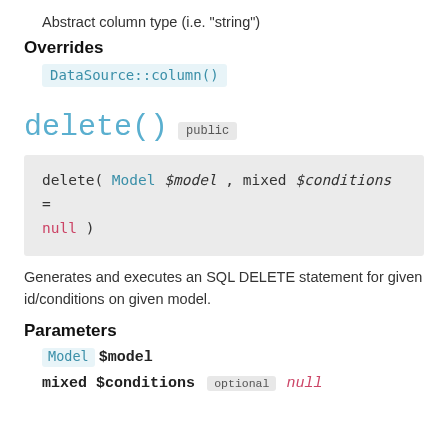Abstract column type (i.e. "string")
Overrides
DataSource::column()
delete()  public
delete( Model $model , mixed $conditions = null )
Generates and executes an SQL DELETE statement for given id/conditions on given model.
Parameters
Model $model
mixed $conditions  optional  null